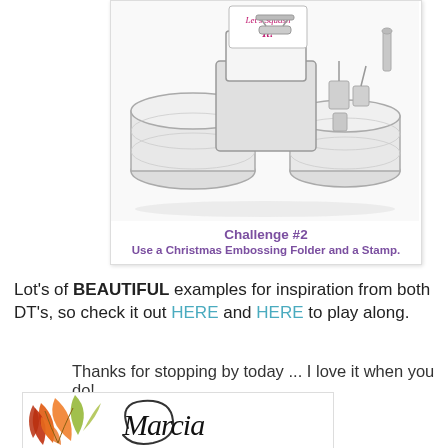[Figure (illustration): A road roller / steamroller machine illustration with 'Let's Squash It!' text on it in pink/magenta cursive script. The machine has large cylinders and mechanical details, drawn in a sketch/line-art style.]
Challenge #2
Use a Christmas Embossing Folder and a Stamp.
Lot's of BEAUTIFUL examples for inspiration from both DT's, so check it out HERE and HERE to play along.
Thanks for stopping by today ... I love it when you do!
[Figure (illustration): Marcia signature logo with colorful autumn leaves (orange, red, yellow-green) on the left and cursive 'Marcia' text in black on a white background.]